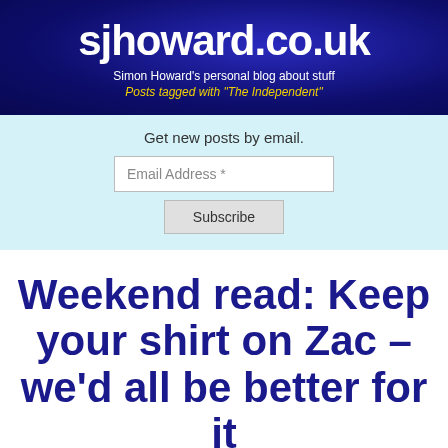sjhoward.co.uk
Simon Howard's personal blog about stuff
Posts tagged with 'The Independent'
Get new posts by email.
Weekend read: Keep your shirt on Zac – we'd all be better for it